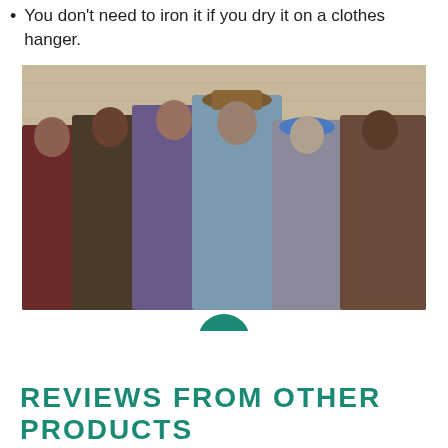You don't need to iron it if you dry it on a clothes hanger.
[Figure (photo): Group of six men wearing matching plaid/checkered tracksuits standing in front of a brick wall. The man in the center is wearing a hat and glasses.]
REVIEWS FROM OTHER PRODUCTS